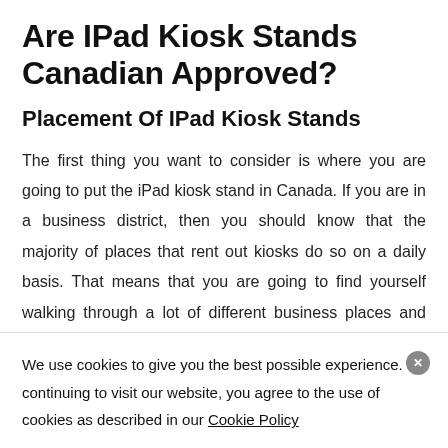Are IPad Kiosk Stands Canadian Approved?
Placement Of IPad Kiosk Stands
The first thing you want to consider is where you are going to put the iPad kiosk stand in Canada. If you are in a business district, then you should know that the majority of places that rent out kiosks do so on a daily basis. That means that you are going to find yourself walking through a lot of different business places and seeing them being used. You also have the option of dealing with a store if that
We use cookies to give you the best possible experience. By continuing to visit our website, you agree to the use of cookies as described in our Cookie Policy